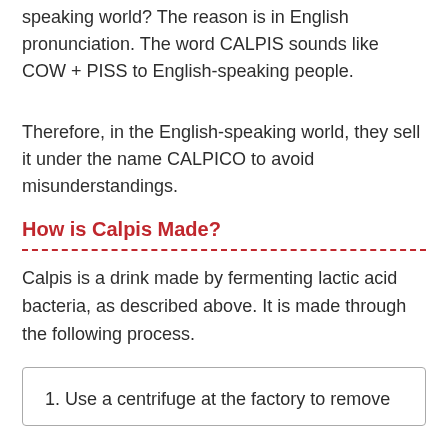speaking world? The reason is in English pronunciation. The word CALPIS sounds like COW + PISS to English-speaking people.
Therefore, in the English-speaking world, they sell it under the name CALPICO to avoid misunderstandings.
How is Calpis Made?
Calpis is a drink made by fermenting lactic acid bacteria, as described above. It is made through the following process.
1. Use a centrifuge at the factory to remove